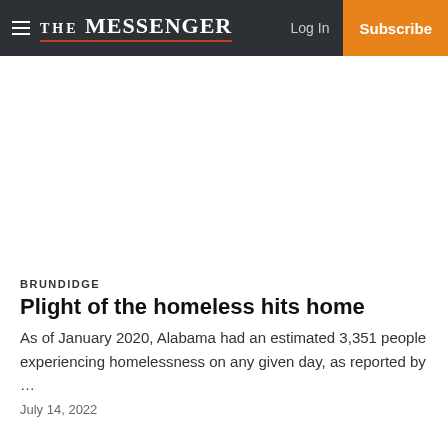The Messenger — Log In | Subscribe
BRUNDIDGE
Plight of the homeless hits home
As of January 2020, Alabama had an estimated 3,351 people experiencing homelessness on any given day, as reported by …
July 14, 2022